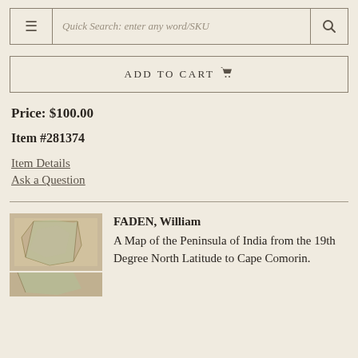Quick Search: enter any word/SKU
ADD TO CART
Price: $100.00
Item #281374
Item Details
Ask a Question
[Figure (photo): Thumbnail image of an antique map of the Peninsula of India]
FADEN, William
A Map of the Peninsula of India from the 19th Degree North Latitude to Cape Comorin.